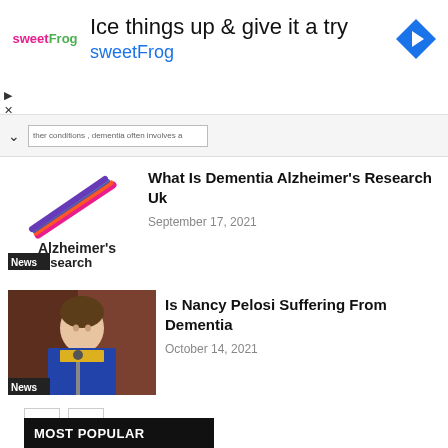[Figure (infographic): SweetFrog advertisement banner with logo, headline 'Ice things up & give it a try', subline 'sweetFrog', and a blue navigation diamond icon]
[Figure (screenshot): Search bar UI element with caret and text input showing partial text about dementia conditions]
[Figure (logo): Alzheimer's Research UK logo with colorful diagonal swooshes and text]
What Is Dementia Alzheimer's Research Uk
September 17, 2021
[Figure (photo): Photo of Nancy Pelosi at a podium wearing a blue jacket and yellow scarf, with News badge overlay]
Is Nancy Pelosi Suffering From Dementia
October 14, 2021
MOST POPULAR